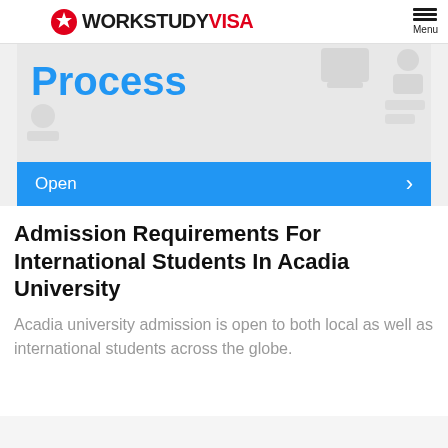WORKSTUDY VISA — Menu
[Figure (screenshot): Partial screenshot of a webpage showing 'Process' text in blue with ghosted icons on a light gray background, with a blue 'Open >' button at the bottom]
Admission Requirements For International Students In Acadia University
Acadia university admission is open to both local as well as international students across the globe.